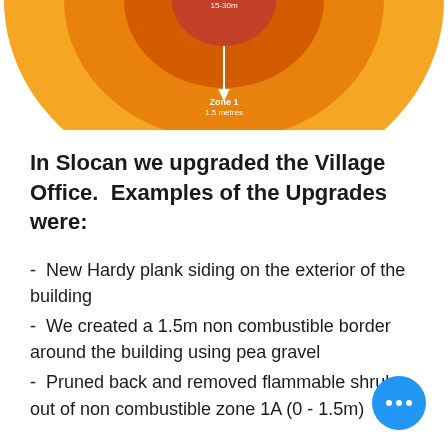[Figure (infographic): Partial donut/radial zone diagram showing wildfire risk zones in orange and yellow, with labels including Zone 1 and zone distances. Only the bottom portion of the diagram is visible at the top of the page.]
In Slocan we upgraded the Village Office.  Examples of the Upgrades were:
-  New Hardy plank siding on the exterior of the building
-  We created a 1.5m non combustible border around the building using pea gravel
-  Pruned back and removed flammable shrubs out of non combustible zone 1A (0 - 1.5m)